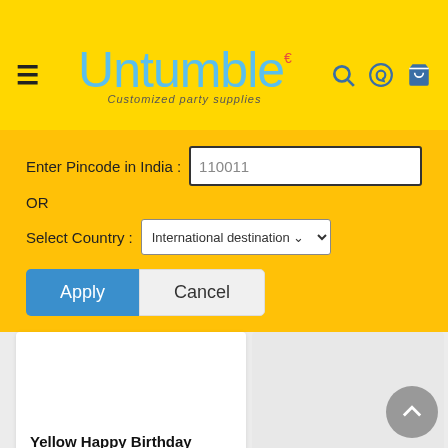Untumble — Customized party supplies
Enter Pincode in India : 110011
OR
Select Country : International destination
Apply | Cancel
Yellow Happy Birthday Banner
Rs. 110.00
Paper Lanterns